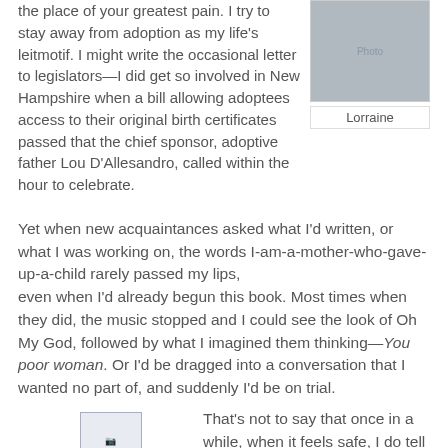the place of your greatest pain. I try to stay away from adoption as my life's leitmotif. I might write the occasional letter to legislators—I did get so involved in New Hampshire when a bill allowing adoptees access to their original birth certificates passed that the chief sponsor, adoptive father Lou D'Allesandro, called within the hour to celebrate.
[Figure (photo): Photo of Lorraine, a person photographed from behind showing dark clothing]
Lorraine
Yet when new acquaintances asked what I'd written, or what I was working on, the words I-am-a-mother-who-gave-up-a-child rarely passed my lips,
even when I'd already begun this book. Most times when they did, the music stopped and I could see the look of Oh My God, followed by what I imagined them thinking—You poor woman. Or I'd be dragged into a conversation that I wanted no part of, and suddenly I'd be on trial.
[Figure (illustration): Image link for 'dusky book hole in my heart']
dusky book hole in my heart
That's not to say that once in a while, when it feels safe, I do tell my story in a single sentence. I